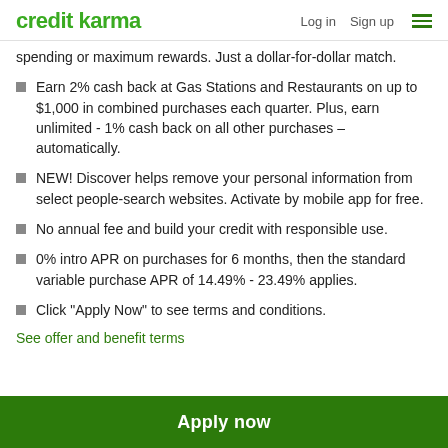credit karma | Log in  Sign up
spending or maximum rewards. Just a dollar-for-dollar match.
Earn 2% cash back at Gas Stations and Restaurants on up to $1,000 in combined purchases each quarter. Plus, earn unlimited - 1% cash back on all other purchases – automatically.
NEW! Discover helps remove your personal information from select people-search websites. Activate by mobile app for free.
No annual fee and build your credit with responsible use.
0% intro APR on purchases for 6 months, then the standard variable purchase APR of 14.49% - 23.49% applies.
Click "Apply Now" to see terms and conditions.
See offer and benefit terms
Apply now